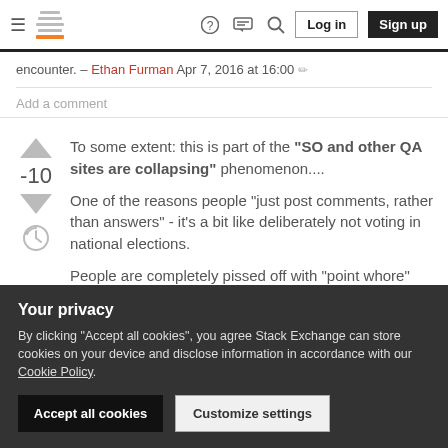Stack Exchange navigation bar with hamburger menu, logo, help, chat, search icons, Log in and Sign up buttons
encounter. – Ethan Furman Apr 7, 2016 at 16:00
Add a comment
To some extent: this is part of the "SO and other QA sites are collapsing" phenomenon....
One of the reasons people "just post comments, rather than answers" - it's a bit like deliberately not voting in national elections.
People are completely pissed off with "point whore"
Your privacy
By clicking "Accept all cookies", you agree Stack Exchange can store cookies on your device and disclose information in accordance with our Cookie Policy.
Accept all cookies
Customize settings